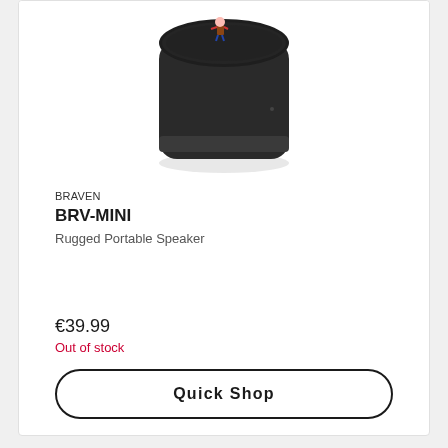[Figure (photo): Product photo of a black cylindrical Braven BRV-MINI rugged portable speaker viewed from above at an angle, showing the textured fabric top and rounded black body. A small figurine is visible on top.]
BRAVEN
BRV-MINI
Rugged Portable Speaker
€39.99
Out of stock
Quick Shop